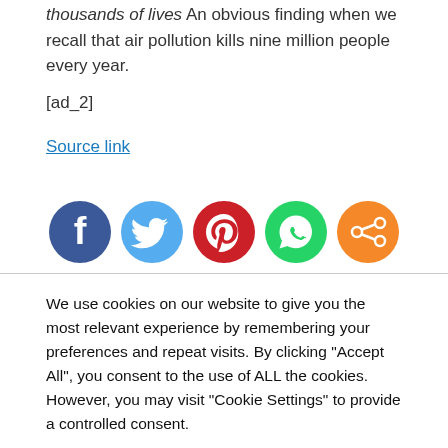thousands of lives An obvious finding when we recall that air pollution kills nine million people every year.
[ad_2]
Source link
[Figure (infographic): Row of five circular social media share icons: Facebook (dark blue), Twitter (light blue), Pinterest (red), WhatsApp (green), Share (orange)]
We use cookies on our website to give you the most relevant experience by remembering your preferences and repeat visits. By clicking "Accept All", you consent to the use of ALL the cookies. However, you may visit "Cookie Settings" to provide a controlled consent.
Cookie Settings  Accept All